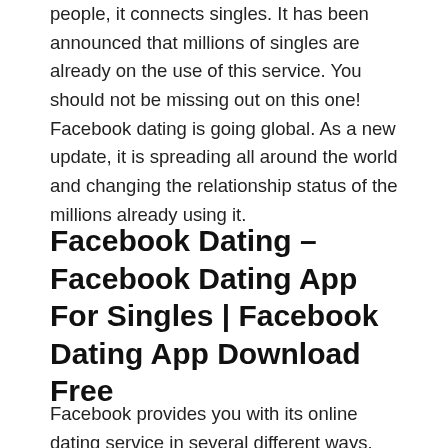people, it connects singles. It has been announced that millions of singles are already on the use of this service. You should not be missing out on this one! Facebook dating is going global. As a new update, it is spreading all around the world and changing the relationship status of the millions already using it.
Facebook Dating – Facebook Dating App For Singles | Facebook Dating App Download Free
Facebook provides you with its online dating service in several different ways. Through different ways, you can